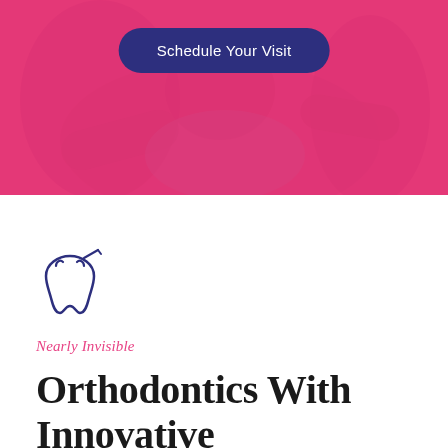[Figure (photo): Pink-overlaid photo of a dental professional treating a patient lying in a dental chair. A dark navy pill-shaped button reads 'Schedule Your Visit' in white text overlaid on the photo.]
[Figure (illustration): Outline icon of a tooth with a dental tool, drawn in dark navy/indigo color.]
Nearly Invisible
Orthodontics With Innovative Transparent Aligners